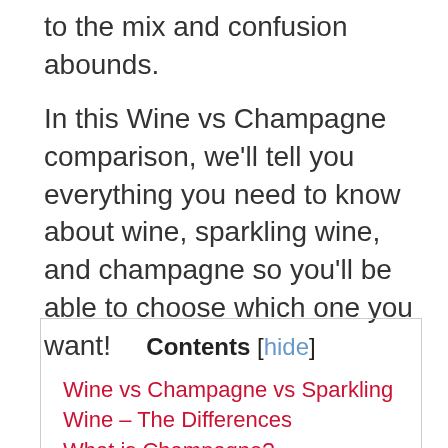to the mix and confusion abounds.
In this Wine vs Champagne comparison, we'll tell you everything you need to know about wine, sparkling wine, and champagne so you'll be able to choose which one you want!
Contents [hide]
Wine vs Champagne vs Sparkling Wine – The Differences
What is Champagne?
What is Sparkling Wine?
What is Wine?